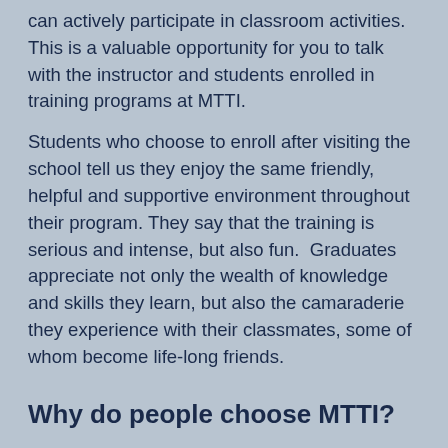can actively participate in classroom activities. This is a valuable opportunity for you to talk with the instructor and students enrolled in training programs at MTTI.
Students who choose to enroll after visiting the school tell us they enjoy the same friendly, helpful and supportive environment throughout their program. They say that the training is serious and intense, but also fun.  Graduates appreciate not only the wealth of knowledge and skills they learn, but also the camaraderie they experience with their classmates, some of whom become life-long friends.
Why do people choose MTTI?
When you compare MTTI with other schools, consider the information listed below. As you explore the website, you'll see photos taken in the classrooms